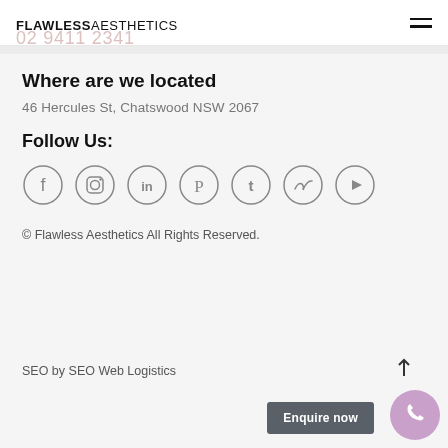FLAWLESS AESTHETICS
Where are we located
46 Hercules St, Chatswood NSW 2067
Follow Us:
[Figure (illustration): Seven social media icons in circles: Facebook, Instagram, LinkedIn, Pinterest, Tumblr, Twitter, YouTube]
© Flawless Aesthetics All Rights Reserved.
SEO by SEO Web Logistics
Enquire now